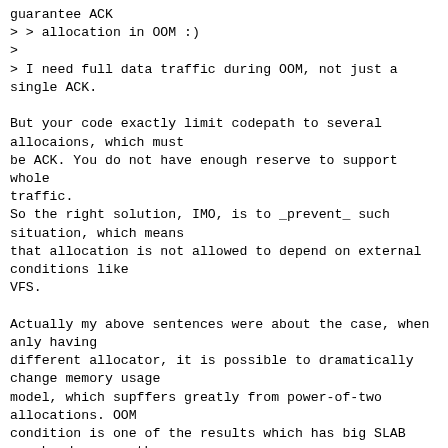guarantee ACK
> > allocation in OOM :)
>
> I need full data traffic during OOM, not just a
single ACK.

But your code exactly limit codepath to several
allocaions, which must
be ACK. You do not have enough reserve to support whole
traffic.
So the right solution, IMO, is to _prevent_ such
situation, which means
that allocation is not allowed to depend on external
conditions like
VFS.

Actually my above sentences were about the case, when
anly having
different allocator, it is possible to dramatically
change memory usage
model, which supffers greatly from power-of-two
allocations. OOM
condition is one of the results which has big SLAB
overhead among other
roots. Actually all pathes which work with kmem_cache
are safe against
it, since kernel cache packs objects, but thos who uses
raw kmalloc has
problems.

> > SLAB overhead is very expensive for network